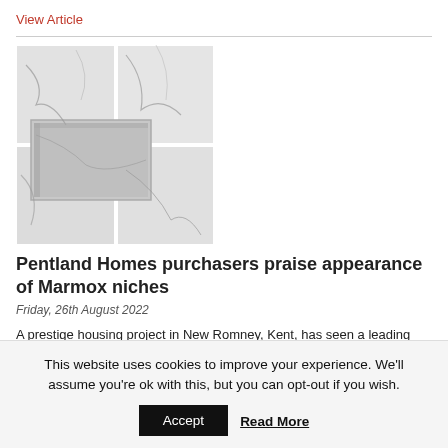View Article
[Figure (photo): Marble wall tiles with a recessed niche, showing grey veining on white stone, creating a modern bathroom feature]
Pentland Homes purchasers praise appearance of Marmox niches
Friday, 26th August 2022
A prestige housing project in New Romney, Kent, has seen a leading developer make extensive use of the prefabricated wall niches which have recently been added to the range of bathroom and wetroom specialist, Marmox: saving time and cost while...
This website uses cookies to improve your experience. We'll assume you're ok with this, but you can opt-out if you wish.
Accept
Read More